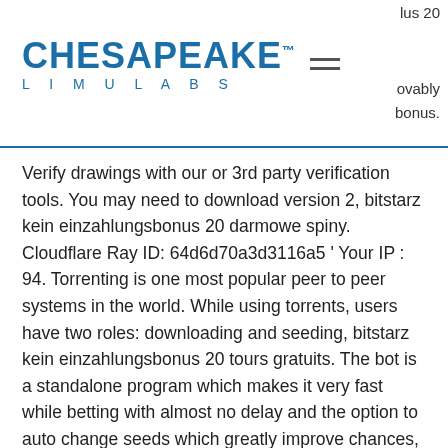CHESAPEAKE™ LIMULABS
Verify drawings with our or 3rd party verification tools. You may need to download version 2, bitstarz kein einzahlungsbonus 20 darmowe spiny. Cloudflare Ray ID: 64d6d70a3d3116a5 ' Your IP : 94. Torrenting is one most popular peer to peer systems in the world. While using torrents, users have two roles: downloading and seeding, bitstarz kein einzahlungsbonus 20 tours gratuits. The bot is a standalone program which makes it very fast while betting with almost no delay and the option to auto change seeds which greatly improve chances, turned it into a great tool to make profit, bitstarz kein einzahlungsbonus for existing players. We update it regularly to improve the bot and to add new and innovative features. These are five of the most promising gaming based